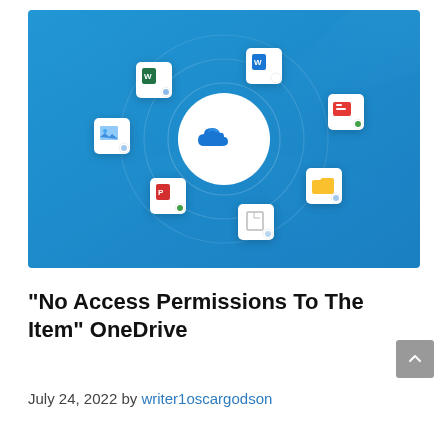[Figure (illustration): OneDrive cloud sync illustration: blue gradient background with a large white circle containing the OneDrive blue cloud icon in the center, surrounded by floating document/file icons (Word, PowerPoint, PDF, folder, image files) connected by concentric circular rings.]
“No Access Permissions To The Item” OneDrive
July 24, 2022 by writer1oscargodson